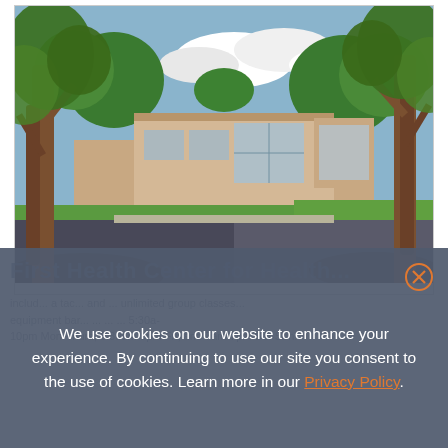[Figure (photo): Exterior photo of a fitness/health center building viewed through crape myrtle trees, with green lawn, blue sky and clouds, parking lot in foreground.]
We use cookies on our website to enhance your experience. By continuing to use our site you consent to the use of cookies. Learn more in our Privacy Policy.